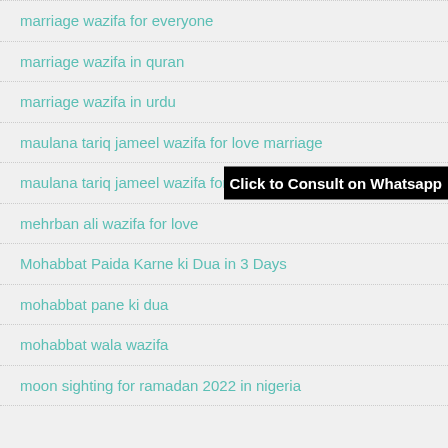marriage wazifa for everyone
marriage wazifa in quran
marriage wazifa in urdu
maulana tariq jameel wazifa for love marriage
maulana tariq jameel wazifa for marriage
mehrban ali wazifa for love
Mohabbat Paida Karne ki Dua in 3 Days
mohabbat pane ki dua
mohabbat wala wazifa
moon sighting for ramadan 2022 in nigeria